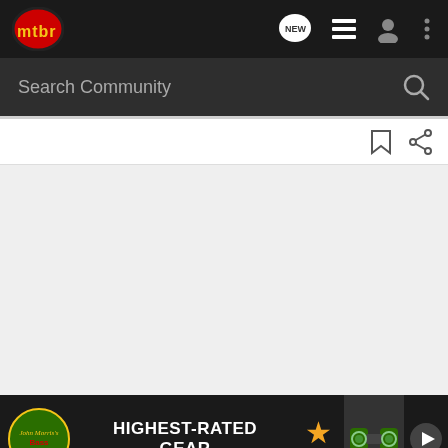mtbr navigation bar with logo, NEW chat, list, user, and menu icons
Search Community
[Figure (screenshot): Bookmark and share icons toolbar]
[Figure (screenshot): Gray content area, mostly empty]
[Figure (infographic): Bass Pro Shops ad banner: HIGHEST-RATED GEAR with star rating 4.7 and binoculars image]